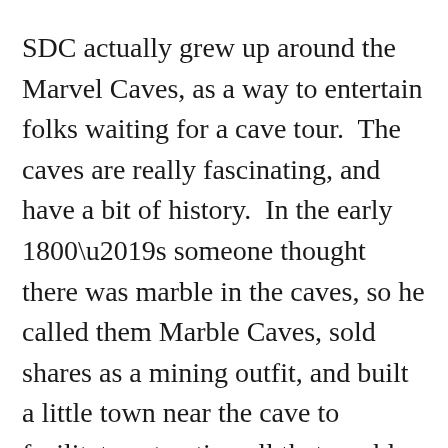SDC actually grew up around the Marvel Caves, as a way to entertain folks waiting for a cave tour.  The caves are really fascinating, and have a bit of history.  In the early 1800’s someone thought there was marble in the caves, so he called them Marble Caves, sold shares as a mining outfit, and built a little town near the cave to facilitate extracting all that marble.  During the Grand Opening of the establishment, a geologist descended into the cave, and announced that there was no trace of marble there!  The promoter then